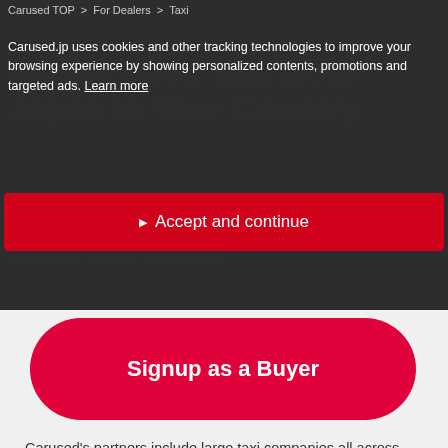Carused TOP > For Dealers > Taxi
Import Used Taxi from Japan in Your Country
Carused.jp uses cookies and other tracking technologies to improve your browsing experience by showing personalized contents, promotions and targeted ads. Learn more
Accept and continue
partnered with us worldwide!
Signup as a Buyer
Carused's partners include large taxi companies all across Japan. Last year, we purchased over 200 vehicles from taxi companies in Japan, which were exported to various parts of the world.